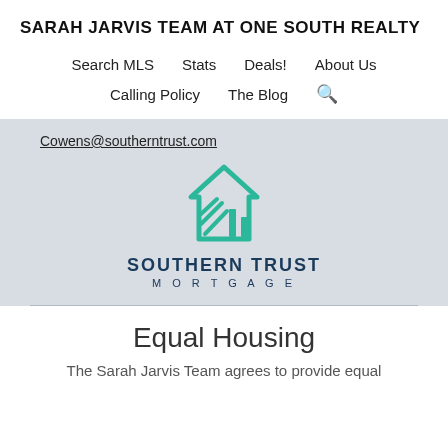SARAH JARVIS TEAM AT ONE SOUTH REALTY
Search MLS
Stats
Deals!
About Us
Calling Policy
The Blog
Cowens@southerntrust.com
[Figure (logo): Southern Trust Mortgage logo — teal house icon with diagonal lines]
SOUTHERN TRUST MORTGAGE
Equal Housing
The Sarah Jarvis Team agrees to provide equal